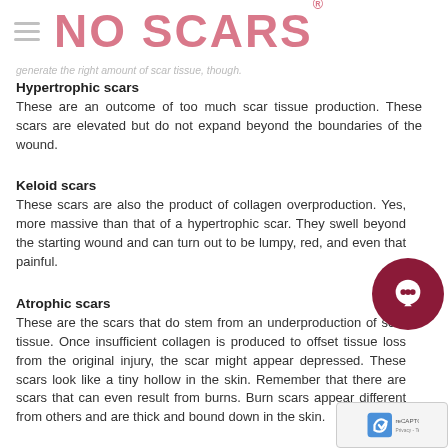NO SCARS
generate the right amount of scar tissue, though.
Hypertrophic scars
These are an outcome of too much scar tissue production. These scars are elevated but do not expand beyond the boundaries of the wound.
Keloid scars
These scars are also the product of collagen overproduction. Yes, more massive than that of a hypertrophic scar. They swell beyond the starting wound and can turn out to be lumpy, red, and even that painful.
Atrophic scars
These are the scars that do stem from an underproduction of scar tissue. Once insufficient collagen is produced to offset tissue loss from the original injury, the scar might appear depressed. These scars look like a tiny hollow in the skin. Remember that there are scars that can even result from burns. Burn scars appear different from others and are thick and bound down in the skin.